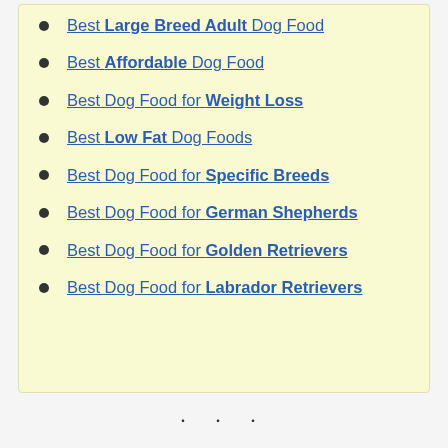Best Large Breed Adult Dog Food
Best Affordable Dog Food
Best Dog Food for Weight Loss
Best Low Fat Dog Foods
Best Dog Food for Specific Breeds
Best Dog Food for German Shepherds
Best Dog Food for Golden Retrievers
Best Dog Food for Labrador Retrievers